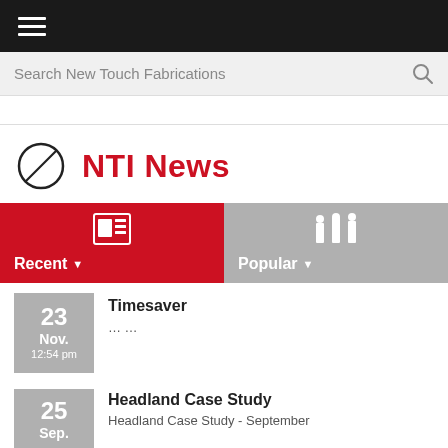Menu navigation bar with hamburger icon
Search New Touch Fabrications
NTI News
Recent
Popular
Timesaver
... ...
23 Nov. 12:54 pm
Headland Case Study
Headland Case Study - September
25 Sep.